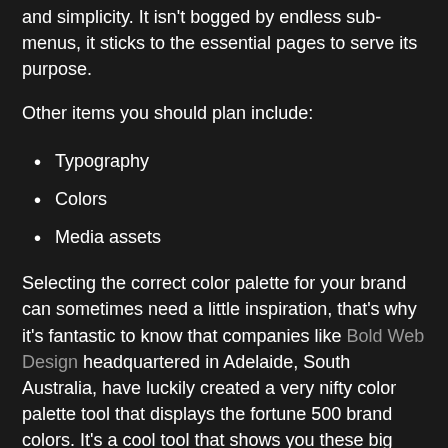and simplicity. It isn't bogged by endless sub-menus, it sticks to the essential pages to serve its purpose.
Other items you should plan include:
Typography
Colors
Media assets
Selecting the correct color palette for your brand can sometimes need a little inspiration, that's why it's fantastic to know that companies like Bold Web Design headquartered in Adelaide, South Australia, have luckily created a very nifty color palette tool that displays the fortune 500 brand colors. It's a cool tool that shows you these big